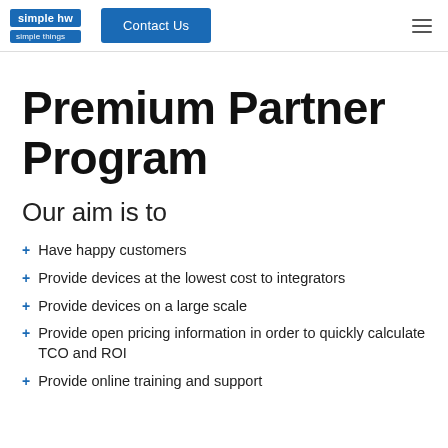simple hw | simple things | Contact Us
Premium Partner Program
Our aim is to
Have happy customers
Provide devices at the lowest cost to integrators
Provide devices on a large scale
Provide open pricing information in order to quickly calculate TCO and ROI
Provide online training and support